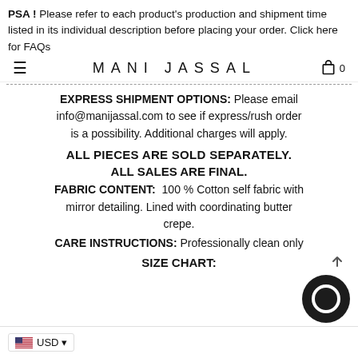PSA! Please refer to each product's production and shipment time listed in its individual description before placing your order. Click here for FAQs
MANI JASSAL
EXPRESS SHIPMENT OPTIONS: Please email info@manijassal.com to see if express/rush order is a possibility. Additional charges will apply.
ALL PIECES ARE SOLD SEPARATELY.
ALL SALES ARE FINAL.
FABRIC CONTENT: 100 % Cotton self fabric with mirror detailing. Lined with coordinating butter crepe.
CARE INSTRUCTIONS: Professionally clean only
SIZE CHART: